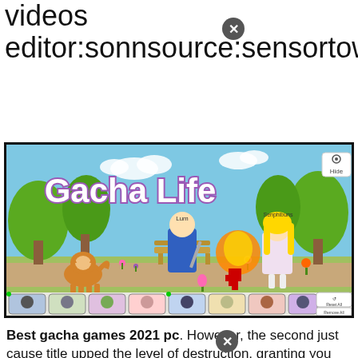videos editor:sonnsource:sensortowergo.
[Figure (screenshot): Gacha Life game screenshot showing anime-style chibi characters in a park scene with a dog, a character named Lum with a sword, and a character named Senphibuns with blonde hair. Bottom shows character selection icons and Reset All / Remove All buttons. Top right shows a Hide/eye button.]
Best gacha games 2021 pc. However, the second just cause title upped the level of destruction, granting you way more freedom, deadly arsenals, incredible destruction physics, and more. Posted by 4 months ago